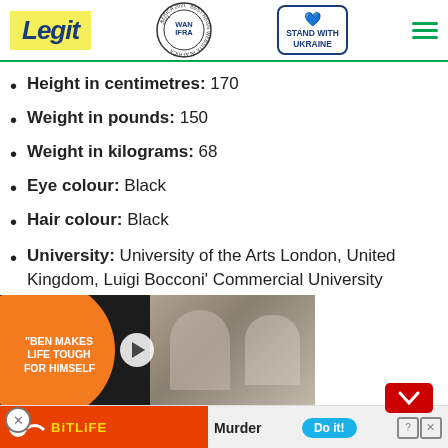Legit | WAN-IFRA Best News Website in Africa 2021 | Stand With Ukraine
Height in centimetres: 170
Weight in pounds: 150
Weight in kilograms: 68
Eye colour: Black
Hair colour: Black
University: University of the Arts London, United Kingdom, Luigi Bocconi' Commercial University
Marital status: In a relationship
...bitiya
...man, model
[Figure (screenshot): Video advertisement overlay showing 'BEN MAKES LIFE TOUGH FOR HIMSELF' with orange circle, play button, and couple photo. Below: BitLife game advertisement with 'Murder - Do it!' button.]